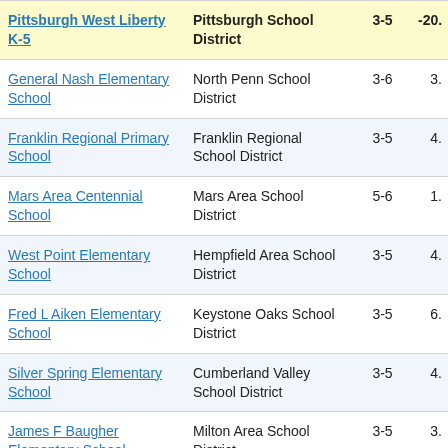| School | District | Grades | Score |
| --- | --- | --- | --- |
| Pittsburgh West Liberty K-5 | Pittsburgh School District | 3-5 | -20. |
| General Nash Elementary School | North Penn School District | 3-6 | 3. |
| Franklin Regional Primary School | Franklin Regional School District | 3-5 | 4. |
| Mars Area Centennial School | Mars Area School District | 5-6 | 1. |
| West Point Elementary School | Hempfield Area School District | 3-5 | 4. |
| Fred L Aiken Elementary School | Keystone Oaks School District | 3-5 | 6. |
| Silver Spring Elementary School | Cumberland Valley School District | 3-5 | 4. |
| James F Baugher Elementary School | Milton Area School District | 3-5 | 3. |
| (partial) | (partial) |  |  |